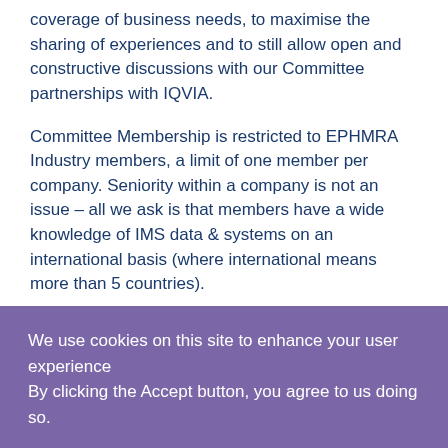coverage of business needs, to maximise the sharing of experiences and to still allow open and constructive discussions with our Committee partnerships with IQVIA.
Committee Membership is restricted to EPHMRA Industry members, a limit of one member per company. Seniority within a company is not an issue – all we ask is that members have a wide knowledge of IMS data & systems on an international basis (where international means more than 5 countries).
Meetings
We use cookies on this site to enhance your user experience
By clicking the Accept button, you agree to us doing so.